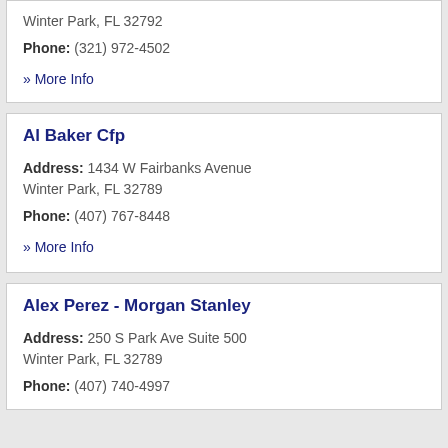Winter Park, FL 32792
Phone: (321) 972-4502
» More Info
Al Baker Cfp
Address: 1434 W Fairbanks Avenue Winter Park, FL 32789
Phone: (407) 767-8448
» More Info
Alex Perez - Morgan Stanley
Address: 250 S Park Ave Suite 500 Winter Park, FL 32789
Phone: (407) 740-4997